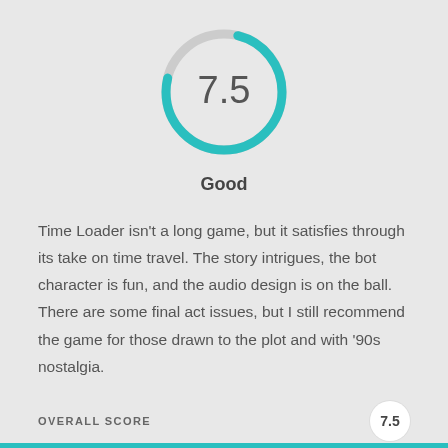[Figure (donut-chart): 7.5 Score Gauge]
Good
Time Loader isn't a long game, but it satisfies through its take on time travel. The story intrigues, the bot character is fun, and the audio design is on the ball. There are some final act issues, but I still recommend the game for those drawn to the plot and with '90s nostalgia.
OVERALL SCORE
7.5